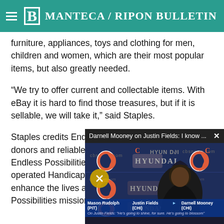Manteca / Ripon Bulletin
furniture, appliances, toys and clothing for men, children and women, which are their most popular items, but also greatly needed.
“We try to offer current and collectable items. With eBay it is hard to find those treasures, but if it is sellable, we will take it,” said Staples.
Staples credits Endless Possibilities’ generous donors and reliable volunteers for ma… However, Endless Possibili… stores as it is owned and d… Handicapped Children and… enhance the lives and self… disabilities. Endless Possi… mission by providing job tr…
[Figure (screenshot): Video player overlay titled 'Darnell Mooney on Justin Fields: I know ...' showing a press conference background with Chicago Bears and Hyundai logos, a person wearing a hoodie in the foreground, mute button visible, and a bottom ticker with player names Mason Rudolph, Justin Fields, Darnell Mooney.]